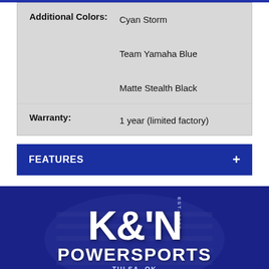| Attribute | Value |
| --- | --- |
| Additional Colors: | Cyan Storm
Team Yamaha Blue
Matte Stealth Black |
| Warranty: | 1 year (limited factory) |
FEATURES +
[Figure (logo): K&N Powersports logo with white text on dark blue background with flag graphic. EST. 1957. TULSA, OK.]